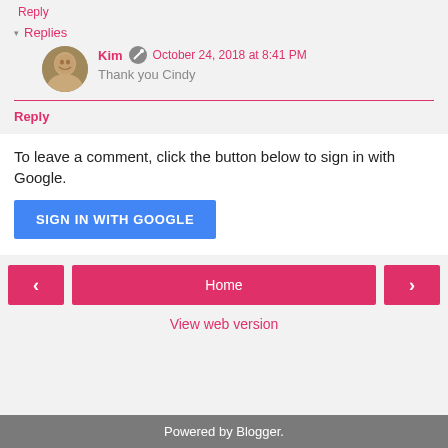Reply
▾ Replies
Kim  October 24, 2018 at 8:41 PM
Thank you Cindy
Reply
To leave a comment, click the button below to sign in with Google.
SIGN IN WITH GOOGLE
Home
View web version
Powered by Blogger.